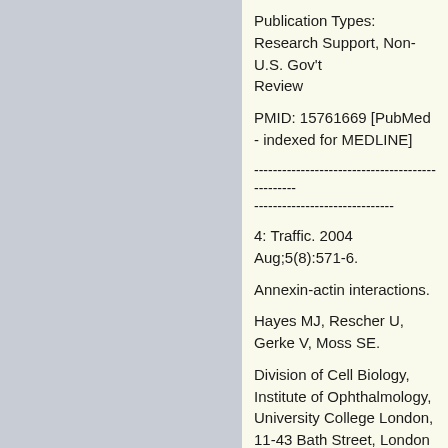Publication Types:
Research Support, Non-U.S. Gov't
Review
PMID: 15761669 [PubMed - indexed for MEDLINE]
--------------------------------------------------------------------------------
------------------------------
4: Traffic. 2004 Aug;5(8):571-6.
Annexin-actin interactions.
Hayes MJ, Rescher U, Gerke V, Moss SE.
Division of Cell Biology, Institute of Ophthalmology, University College London, 11-43 Bath Street, London EC1V 9EL, UK.
The actin cytoskeleton is a malleable